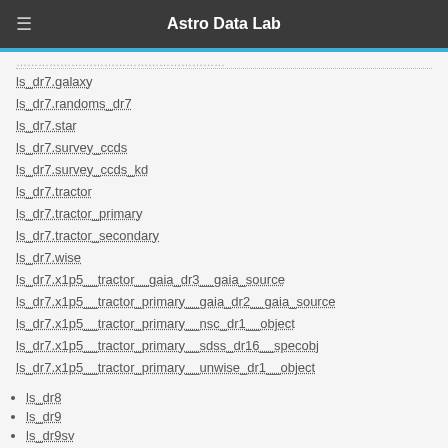Astro Data Lab
ls_dr7.galaxy
ls_dr7.randoms_dr7
ls_dr7.star
ls_dr7.survey_ccds
ls_dr7.survey_ccds_kd
ls_dr7.tractor
ls_dr7.tractor_primary
ls_dr7.tractor_secondary
ls_dr7.wise
ls_dr7.x1p5__tractor__gaia_dr3__gaia_source
ls_dr7.x1p5__tractor_primary__gaia_dr2__gaia_source
ls_dr7.x1p5__tractor_primary__nsc_dr1__object
ls_dr7.x1p5__tractor_primary__sdss_dr16__specobj
ls_dr7.x1p5__tractor_primary__unwise_dr1__object
ls_dr8
ls_dr9
ls_dr9sv
lsst_sim
nsc_dr2